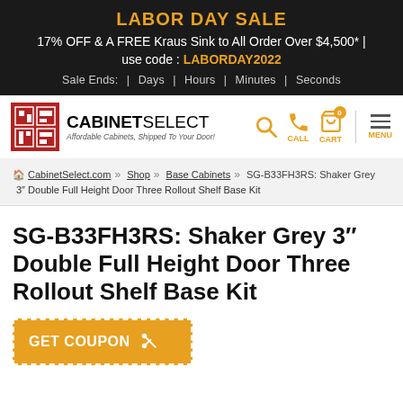LABOR DAY SALE
17% OFF & A FREE Kraus Sink to All Order Over $4,500* | use code : LABORDAY2022
Sale Ends: | Days | Hours | Minutes | Seconds
[Figure (logo): CabinetSelect logo with red square icon and text 'CABINETSELECT — Affordable Cabinets, Shipped To Your Door!']
SG-B33FH3RS: Shaker Grey 3" Double Full Height Door Three Rollout Shelf Base Kit
CabinetSelect.com >> Shop >> Base Cabinets >> SG-B33FH3RS: Shaker Grey 3" Double Full Height Door Three Rollout Shelf Base Kit
[Figure (other): GET COUPON button with scissors icon, orange background with dashed white border]